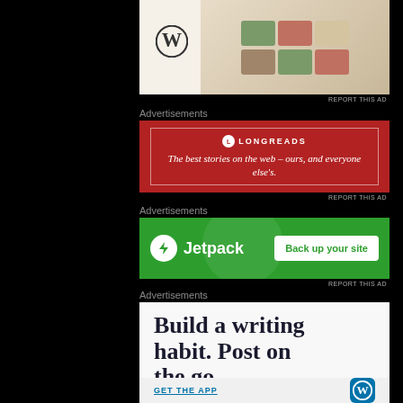[Figure (screenshot): WordPress food/recipe website or app screenshot showing food images and WordPress logo]
REPORT THIS AD
Advertisements
[Figure (screenshot): Longreads advertisement banner: red background with white border, logo and tagline 'The best stories on the web – ours, and everyone else's.']
REPORT THIS AD
Advertisements
[Figure (screenshot): Jetpack advertisement banner: green background with Jetpack logo and 'Back up your site' button]
REPORT THIS AD
Advertisements
[Figure (screenshot): WordPress app advertisement: white/light background with text 'Build a writing habit. Post on the go.' and 'GET THE APP' with WordPress logo]